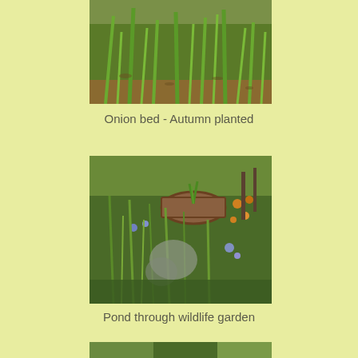[Figure (photo): Onion bed with autumn planted onions growing in soil with green shoots visible]
Onion bed - Autumn planted
[Figure (photo): Wildlife garden pond viewed through lush vegetation including herbs, blue flowers, and orange flowers with circular pond surround visible in background]
Pond through wildlife garden
[Figure (photo): Garden bed with leafy plants and vegetation, partial view at bottom of page]